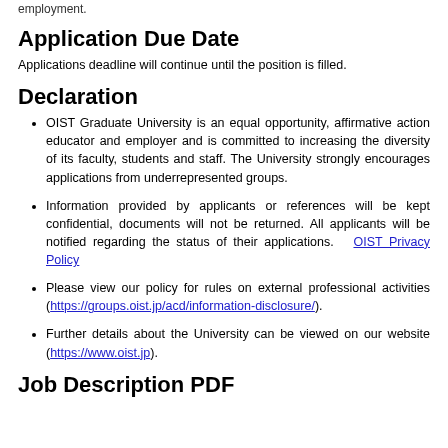employment.
Application Due Date
Applications deadline will continue until the position is filled.
Declaration
OIST Graduate University is an equal opportunity, affirmative action educator and employer and is committed to increasing the diversity of its faculty, students and staff. The University strongly encourages applications from underrepresented groups.
Information provided by applicants or references will be kept confidential, documents will not be returned. All applicants will be notified regarding the status of their applications. OIST Privacy Policy
Please view our policy for rules on external professional activities (https://groups.oist.jp/acd/information-disclosure/).
Further details about the University can be viewed on our website (https://www.oist.jp).
Job Description PDF